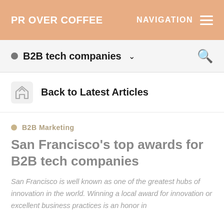PR OVER COFFEE
B2B tech companies
Back to Latest Articles
B2B Marketing
San Francisco's top awards for B2B tech companies
San Francisco is well known as one of the greatest hubs of innovation in the world. Winning a local award for innovation or excellent business practices is an honor in